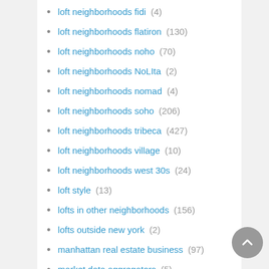loft neighborhoods fidi (4)
loft neighborhoods flatiron (130)
loft neighborhoods noho (70)
loft neighborhoods NoLIta (2)
loft neighborhoods nomad (4)
loft neighborhoods soho (206)
loft neighborhoods tribeca (427)
loft neighborhoods village (10)
loft neighborhoods west 30s (24)
loft style (13)
lofts in other neighborhoods (156)
lofts outside new york (2)
manhattan real estate business (97)
market data aggregators (5)
market data reports (236)
market trends (103)
marketing manhattan apartments (16)
new this week (21)